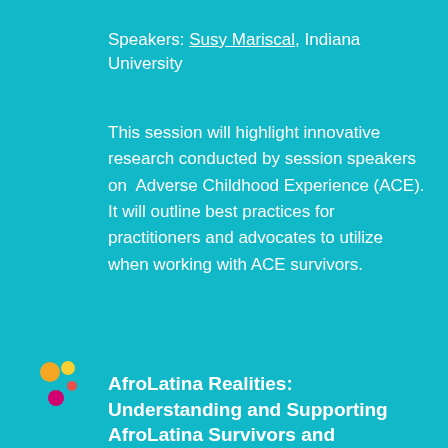Speakers: Susy Mariscal, Indiana University
This session will highlight innovative research conducted by session speakers on  Adverse Childhood Experience (ACE). It will outline best practices for practitioners and advocates to utilize when working with ACE survivors.
[Figure (logo): Colorful decorative dots/circles logo in orange, yellow, pink, and magenta colors]
AfroLatina Realities: Understanding and Supporting AfroLatina Survivors and